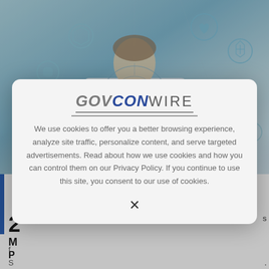[Figure (photo): Background photo of a doctor in white coat holding a digital tablet, with medical/health technology icons (heart, shield, cross, first aid) floating around in a blue-tinted medical tech composite image]
[Figure (screenshot): GovConWire website cookie consent modal dialog box overlaying the page content. Contains the GovConWire logo, cookie policy text, and an X close button.]
We use cookies to offer you a better browsing experience, analyze site traffic, personalize content, and serve targeted advertisements. Read about how we use cookies and how you can control them on our Privacy Policy. If you continue to use this site, you consent to our use of cookies.